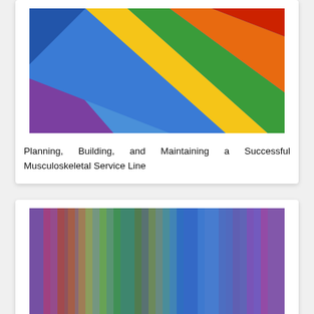[Figure (illustration): Colorful diagonal rainbow stripes (red, orange, yellow, green, blue, purple) on a book cover thumbnail]
Planning, Building, and Maintaining a Successful Musculoskeletal Service Line
[Figure (illustration): Blurred vertical color gradient stripes in rainbow colors (red, blue, green, yellow, purple) on a book cover thumbnail]
Health Care Reform